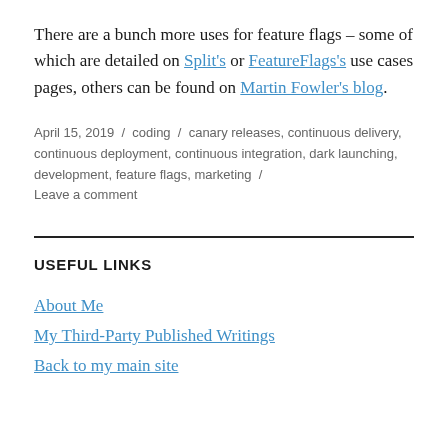There are a bunch more uses for feature flags – some of which are detailed on Split's or FeatureFlags's use cases pages, others can be found on Martin Fowler's blog.
April 15, 2019 / coding / canary releases, continuous delivery, continuous deployment, continuous integration, dark launching, development, feature flags, marketing / Leave a comment
USEFUL LINKS
About Me
My Third-Party Published Writings
Back to my main site